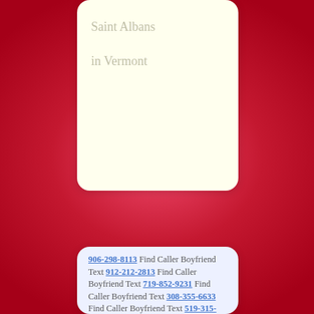Saint Albans
in Vermont
906-298-8113 Find Caller Boyfriend Text 912-212-2813 Find Caller Boyfriend Text 719-852-9231 Find Caller Boyfriend Text 308-355-6633 Find Caller Boyfriend Text 519-315-6520 Find Caller Boyfriend Text 478-275-6826 Find Caller Boyfriend Text 226-373-5177 Find Caller Boyfriend Text 903-907-8692 Find Caller Boyfriend Text 337-404-3255 Find Caller Boyfriend Text 734-844-3868 Find Caller Boyfriend Text 775-945-3719 Find Caller Boyfriend Text 281-979-8250 Find Caller Boyfriend Text